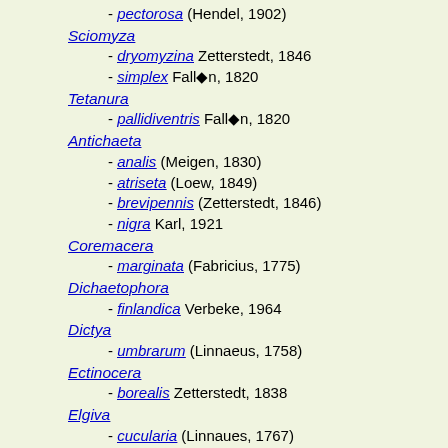- pectorosa (Hendel, 1902)
Sciomyza
- dryomyzina Zetterstedt, 1846
- simplex Fallén, 1820
Tetanura
- pallidiventris Fallén, 1820
Antichaeta
- analis (Meigen, 1830)
- atriseta (Loew, 1849)
- brevipennis (Zetterstedt, 1846)
- nigra Karl, 1921
Coremacera
- marginata (Fabricius, 1775)
Dichaetophora
- finlandica Verbeke, 1964
Dictya
- umbrarum (Linnaeus, 1758)
Ectinocera
- borealis Zetterstedt, 1838
Elgiva
- cucularia (Linnaues, 1767)
- divisa (Loew, 1845)
- solicita (Harris, 1780)
Euthycera
- chaerophylli (Fabricius, 1798)